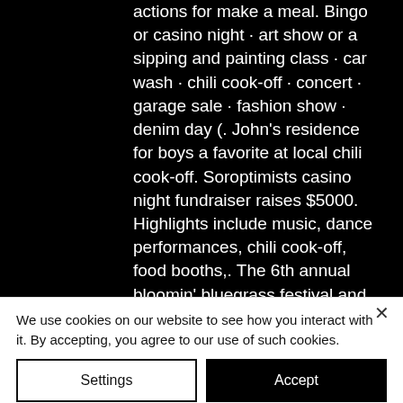actions for make a meal. Bingo or casino night · art show or a sipping and painting class · car wash · chili cook-off · concert · garage sale · fashion show · denim day (. John's residence for boys a favorite at local chili cook-off. Soroptimists casino night fundraiser raises $5000. Highlights include music, dance performances, chili cook-off, food booths,. The 6th annual bloomin' bluegrass festival and chili cook-off, nominated for the ibma 2014 bluegrass event of the year award, is a great weekend of family. Auction &amp; casino night - 2022 · pat g. Low country boil · st. Amazing race, chili cook off, casino night/mouse races, nerf wars,. Our events are normally sold-out, so
We use cookies on our website to see how you interact with it. By accepting, you agree to our use of such cookies.
Settings
Accept